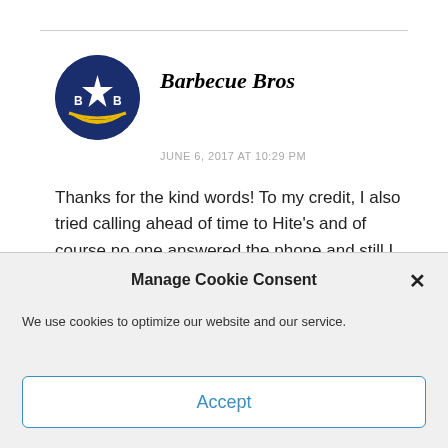[Figure (logo): Circular logo with dark blue background, gold banner, white star, and letters B and B on either side of the star]
Barbecue Bros
JUNE 6, 2017 AT 10:29 PM
Thanks for the kind words! To my credit, I also tried calling ahead of time to Hite's and of course no one answered the phone and still I proceeded to make the drive anyway. Oh well, at least I eventually got
Manage Cookie Consent
We use cookies to optimize our website and our service.
Accept